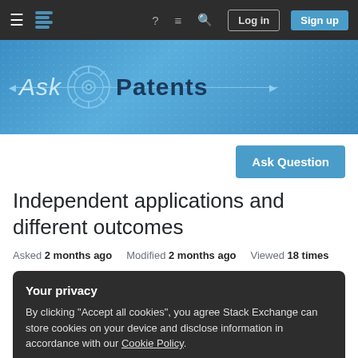Ask Patents — Stack Exchange navigation bar with Log in and Sign up buttons
[Figure (screenshot): Ask Patents website banner with gear logo, 'Ask' italic text and 'Patents' bold text on blue dotted background with arrows]
[Figure (other): Ask Question button (blue)]
Independent applications and different outcomes
Asked 2 months ago   Modified 2 months ago   Viewed 18 times
Your privacy
By clicking "Accept all cookies", you agree Stack Exchange can store cookies on your device and disclose information in accordance with our Cookie Policy.
Accept all cookies   Customize settings
Can the application with a different claiming element...